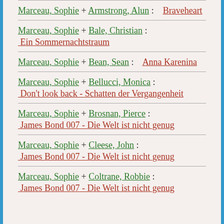Marceau, Sophie + Armstrong, Alun : Braveheart
Marceau, Sophie + Bale, Christian : Ein Sommernachtstraum
Marceau, Sophie + Bean, Sean : Anna Karenina
Marceau, Sophie + Bellucci, Monica : Don't look back - Schatten der Vergangenheit
Marceau, Sophie + Brosnan, Pierce : James Bond 007 - Die Welt ist nicht genug
Marceau, Sophie + Cleese, John : James Bond 007 - Die Welt ist nicht genug
Marceau, Sophie + Coltrane, Robbie : James Bond 007 - Die Welt ist nicht genug